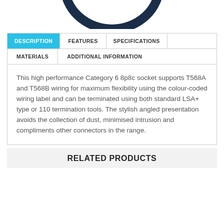[Figure (logo): Partial circular logo in dark navy blue, showing bottom arc portion]
| DESCRIPTION | FEATURES | SPECIFICATIONS |  |
| --- | --- | --- | --- |
| MATERIALS | ADDITIONAL INFORMATION |  |  |
This high performance Category 6 8p8c socket supports T568A and T568B wiring for maximum flexibility using the colour-coded wiring label and can be terminated using both standard LSA+ type or 110 termination tools. The stylish angled presentation avoids the collection of dust, minimised intrusion and compliments other connectors in the range.
RELATED PRODUCTS